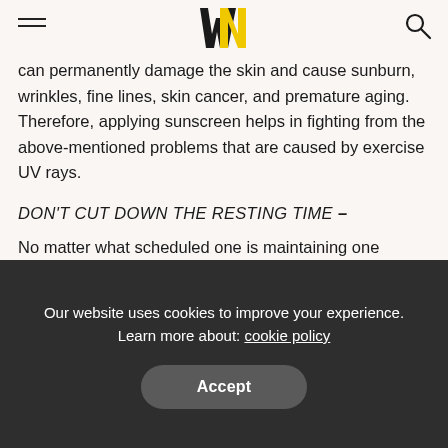Navigation header with hamburger menu, WN logo, and search icon
can permanently damage the skin and cause sunburn, wrinkles, fine lines, skin cancer, and premature aging. Therefore, applying sunscreen helps in fighting from the above-mentioned problems that are caused by exercise UV rays.
DON'T CUT DOWN THE RESTING TIME –
No matter what scheduled one is maintaining one should always try to take out enough time to rest as our body needs time to repair itself and maintain healthy skin. One should get enough time to rest because during summer the days are longer and most of us tend to be
Our website uses cookies to improve your experience. Learn more about: cookie policy
Accept